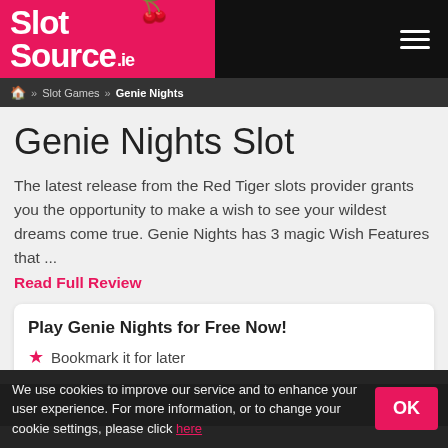SlotSource.ie
» Slot Games » Genie Nights
Genie Nights Slot
The latest release from the Red Tiger slots provider grants you the opportunity to make a wish to see your wildest dreams come true. Genie Nights has 3 magic Wish Features that ...
Read Full Review
Play Genie Nights for Free Now! ★ Bookmark it for later
[Figure (photo): Dark screenshot strip of Genie Nights slot game]
We use cookies to improve our service and to enhance your user experience. For more information, or to change your cookie settings, please click here